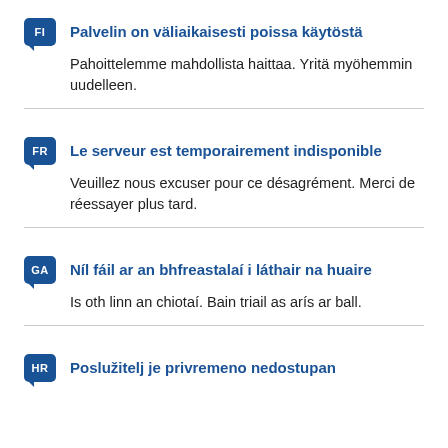Palvelin on väliaikaisesti poissa käytöstä
Pahoittelemme mahdollista haittaa. Yritä myöhemmin uudelleen.
Le serveur est temporairement indisponible
Veuillez nous excuser pour ce désagrément. Merci de réessayer plus tard.
Níl fáil ar an bhfreastalaí i láthair na huaire
Is oth linn an chiotaí. Bain triail as arís ar ball.
Poslužitelj je privremeno nedostupan